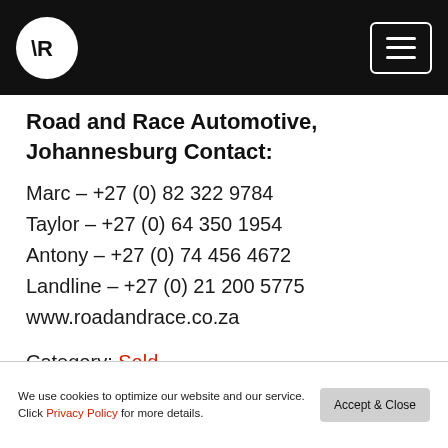Road and Race Automotive – Navigation bar with logo and menu button
Road and Race Automotive, Johannesburg Contact:
Marc – +27 (0) 82 322 9784
Taylor – +27 (0) 64 350 1954
Antony – +27 (0) 74 456 4672
Landline – +27 (0) 21 200 5775
www.roadandrace.co.za
Category: Sold
We use cookies to optimize our website and our service. Click Privacy Policy for more details.  [Accept & Close]